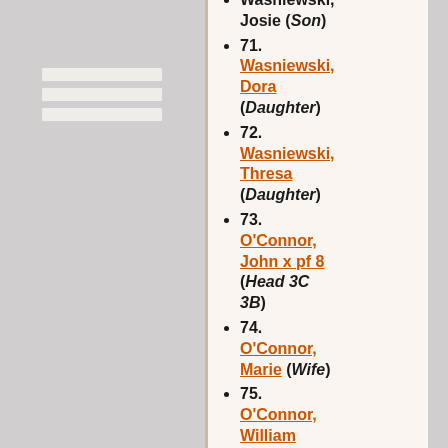71. Wasniewski, Dora (Daughter)
72. Wasniewski, Thresa (Daughter)
73. O'Connor, John x pf 8 (Head 3C 3B)
74. O'Connor, Marie (Wife)
75. O'Connor, William (Son)
76. O'Connor, Joseph (Son)